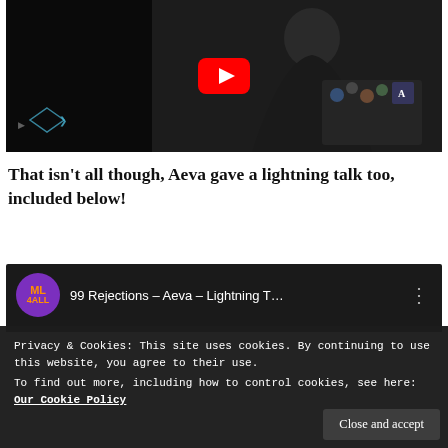[Figure (screenshot): YouTube video thumbnail showing a person in dark clothing holding a laptop with stickers, with a YouTube play button overlay. Left side shows dark navigation arrows area.]
That isn't all though, Aeva gave a lightning talk too, included below!
[Figure (screenshot): YouTube video embed showing ML4ALL channel logo (purple circle with orange ML 4ALL text), video title '99 Rejections - Aeva - Lightning T...' with three-dot menu, and a preview image.]
Privacy & Cookies: This site uses cookies. By continuing to use this website, you agree to their use.
To find out more, including how to control cookies, see here: Our Cookie Policy